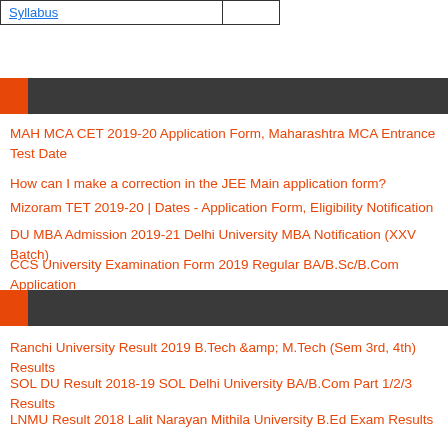| Syllabus |  |
| --- | --- |
MAH MCA CET 2019-20 Application Form, Maharashtra MCA Entrance Test Date
How can I make a correction in the JEE Main application form?
Mizoram TET 2019-20 | Dates - Application Form, Eligibility Notification
DU MBA Admission 2019-21 Delhi University MBA Notification (XXV Batch)
CCS University Examination Form 2019 Regular BA/B.Sc/B.Com Application
Ranchi University Result 2019 B.Tech &amp; M.Tech (Sem 3rd, 4th) Results
SOL DU Result 2018-19 SOL Delhi University BA/B.Com Part 1/2/3 Results
LNMU Result 2018 Lalit Narayan Mithila University B.Ed Exam Results